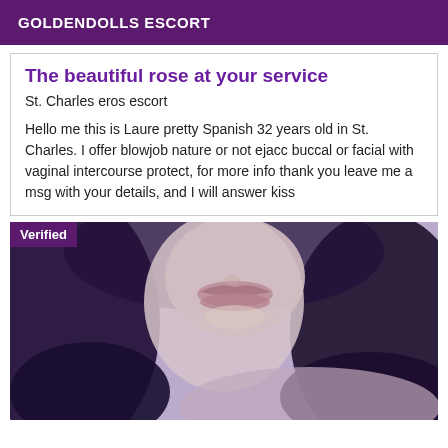GOLDENDOLLS ESCORT
The beautiful rose at your service
St. Charles eros escort
Hello me this is Laure pretty Spanish 32 years old in St. Charles. I offer blowjob nature or not ejacc buccal or facial with vaginal intercourse protect, for more info thank you leave me a msg with your details, and I will answer kiss
[Figure (photo): Close-up portrait photo of a woman with dark wavy hair, with a 'Verified' badge in the top-left corner]